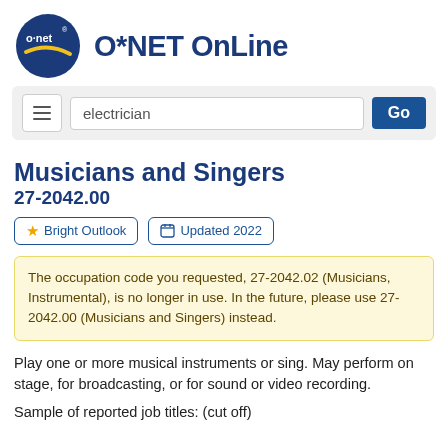[Figure (logo): O*NET OnLine logo with circular navy blue O*NET emblem and O*NET OnLine text in bold navy]
[Figure (screenshot): Search bar with hamburger menu button, text input showing 'electrician', and a blue Go button]
Musicians and Singers
27-2042.00
Bright Outlook   Updated 2022
The occupation code you requested, 27-2042.02 (Musicians, Instrumental), is no longer in use. In the future, please use 27-2042.00 (Musicians and Singers) instead.
Play one or more musical instruments or sing. May perform on stage, for broadcasting, or for sound or video recording.
Sample of reported job titles: (cut off)